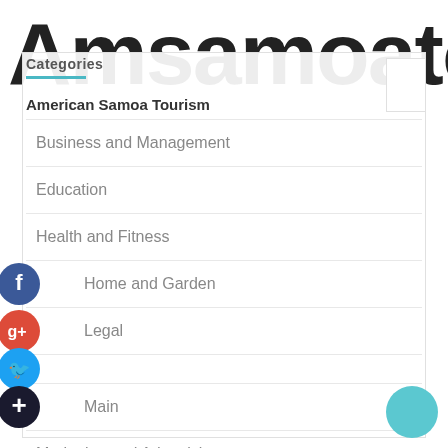Amsamoatourism
Categories
American Samoa Tourism
Business and Management
Education
Health and Fitness
Home and Garden
Legal
Main
Marketing and Advertising